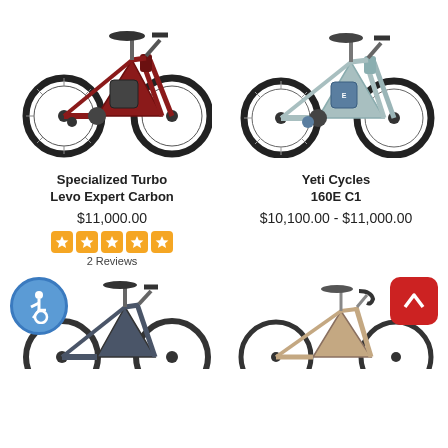[Figure (photo): Red/dark maroon electric mountain bike (Specialized Turbo Levo Expert Carbon) on white background]
[Figure (photo): Light teal/grey electric mountain bike (Yeti Cycles 160E C1) on white background]
Specialized Turbo Levo Expert Carbon
$11,000.00
[Figure (other): 5 orange star rating icons]
2 Reviews
Yeti Cycles 160E C1
$10,100.00 - $11,000.00
[Figure (photo): Dark grey/slate full suspension mountain bike (partial, bottom of page)]
[Figure (photo): Tan/beige road/gravel bike (partial, bottom of page)]
[Figure (other): Wheelchair accessibility icon — blue circle with white wheelchair symbol]
[Figure (other): Back to top button — red rounded square with white upward arrow]